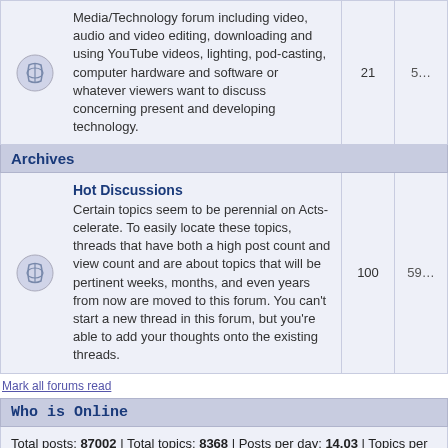Media/Technology forum including video, audio and video editing, downloading and using YouTube videos, lighting, pod-casting, computer hardware and software or whatever viewers want to discuss concerning present and developing technology. 21 5…
Archives
Hot Discussions — Certain topics seem to be perennial on Acts-celerate. To easily locate these topics, threads that have both a high post count and view count and are about topics that will be pertinent weeks, months, and even years from now are moved to this forum. You can't start a new thread in this forum, but you're able to add your thoughts onto the existing threads. 100 592
Mark all forums read
Who is Online
Total posts: 87002 | Total topics: 8368 | Posts per day: 14.03 | Topics per day: 1.35
A total of 9314 now registered on both Actscelerate boards
The newest registered user is Unfettered pursuit

In total there are 20 users online :: 20 Guests [ Administrator ] [ Moderator ]
Most users ever online was 420 on 12/10/18 4:04 pm
Registered Users: None
This data is based on users active over the past five minutes
Log in
Username: [input] Password: [input] Log me on automatically eac…